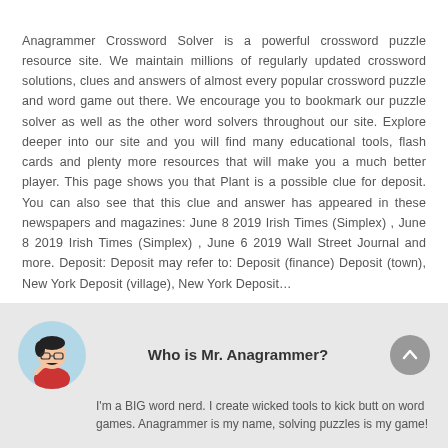Anagrammer Crossword Solver is a powerful crossword puzzle resource site. We maintain millions of regularly updated crossword solutions, clues and answers of almost every popular crossword puzzle and word game out there. We encourage you to bookmark our puzzle solver as well as the other word solvers throughout our site. Explore deeper into our site and you will find many educational tools, flash cards and plenty more resources that will make you a much better player. This page shows you that Plant is a possible clue for deposit. You can also see that this clue and answer has appeared in these newspapers and magazines: June 8 2019 Irish Times (Simplex) , June 8 2019 Irish Times (Simplex) , June 6 2019 Wall Street Journal and more. Deposit: Deposit may refer to: Deposit (finance) Deposit (town), New York Deposit (village), New York Deposit…
[Figure (illustration): Cartoon avatar of Mr. Anagrammer — a man in red shirt sitting at a desk]
Who is Mr. Anagrammer?
I'm a BIG word nerd. I create wicked tools to kick butt on word games. Anagrammer is my name, solving puzzles is my game!